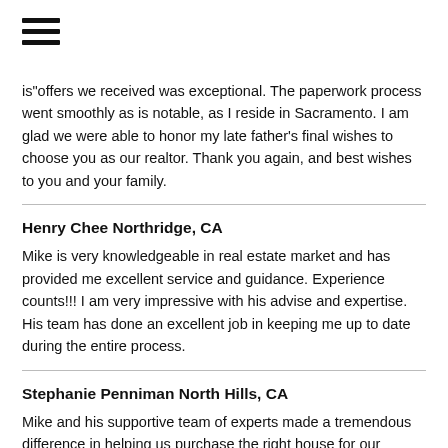[Figure (other): Hamburger menu icon (three horizontal bars)]
is"offers we received was exceptional. The paperwork process went smoothly as is notable, as I reside in Sacramento. I am glad we were able to honor my late father's final wishes to choose you as our realtor. Thank you again, and best wishes to you and your family.
Henry Chee Northridge, CA
Mike is very knowledgeable in real estate market and has provided me excellent service and guidance. Experience counts!!! I am very impressive with his advise and expertise. His team has done an excellent job in keeping me up to date during the entire process.
Stephanie Penniman North Hills, CA
Mike and his supportive team of experts made a tremendous difference in helping us purchase the right house for our needs. His assistant, Victoria, encouraged us by highlighting the strengths of the family home we were planning to sell. His financial expert, Chad